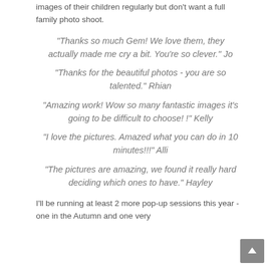images of their children regularly but don't want a full family photo shoot.
"Thanks so much Gem! We love them, they actually made me cry a bit. You're so clever." Jo
"Thanks for the beautiful photos - you are so talented." Rhian
"Amazing work! Wow so many fantastic images it's going to be difficult to choose! !" Kelly
"I love the pictures. Amazed what you can do in 10 minutes!!!" Alli
"The pictures are amazing, we found it really hard deciding which ones to have." Hayley
I'll be running at least 2 more pop-up sessions this year - one in the Autumn and one very